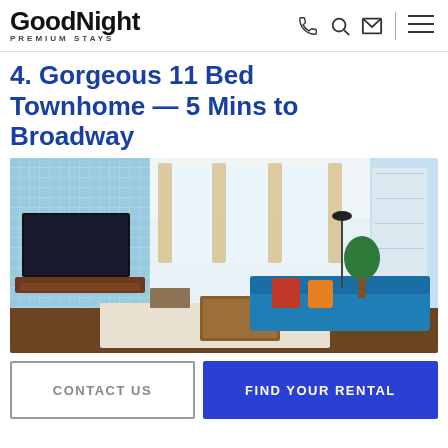GoodNight PREMIUM STAYS
4. Gorgeous 11 Bed Townhome — 5 Mins to Broadway
[Figure (photo): Interior photo of a modern townhome living room with blue mosaic accent wall, wall-mounted TV, blue sofa with colorful pillows, wooden coffee table, tall windows with beige curtains, and built-in white shelving.]
CONTACT US
FIND YOUR RENTAL